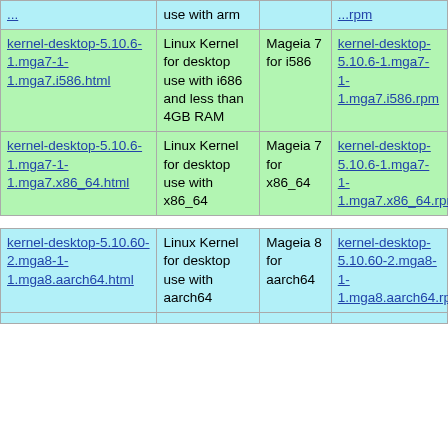| kernel-desktop-5.10.6-1.mga7-1-1.mga7.i586.html | Linux Kernel for desktop use with i686 and less than 4GB RAM | Mageia 7 for i586 | kernel-desktop-5.10.6-1.mga7-1-1.mga7.i586.rpm |
| kernel-desktop-5.10.6-1.mga7-1-1.mga7.x86_64.html | Linux Kernel for desktop use with x86_64 | Mageia 7 for x86_64 | kernel-desktop-5.10.6-1.mga7-1-1.mga7.x86_64.rpm |
| kernel-desktop-5.10.60-2.mga8-1-1.mga8.aarch64.html | Linux Kernel for desktop use with aarch64 | Mageia 8 for aarch64 | kernel-desktop-5.10.60-2.mga8-1-1.mga8.aarch64.rpm |